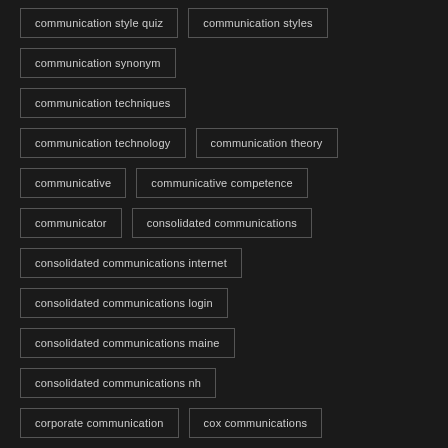communication style quiz
communication styles
communication synonym
communication techniques
communication technology
communication theory
communicative
communicative competence
communicator
consolidated communications
consolidated communications internet
consolidated communications login
consolidated communications maine
consolidated communications nh
corporate communication
cox communications